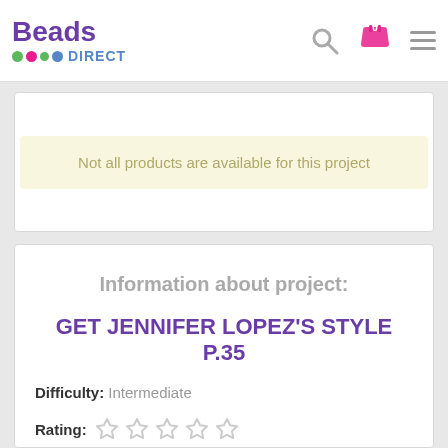Beads Direct
Not all products are available for this project
Information about project:
GET JENNIFER LOPEZ'S STYLE P.35
Difficulty: Intermediate
Rating: ☆ ☆ ☆ ☆ ☆